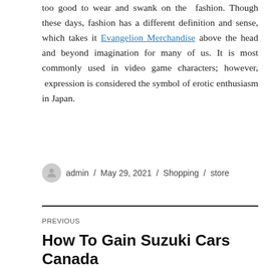too good to wear and swank on the fashion. Though these days, fashion has a different definition and sense, which takes it Evangelion Merchandise above the head and beyond imagination for many of us. It is most commonly used in video game characters; however, expression is considered the symbol of erotic enthusiasm in Japan.
admin / May 29, 2021 / Shopping / store
PREVIOUS
How To Gain Suzuki Cars Canada